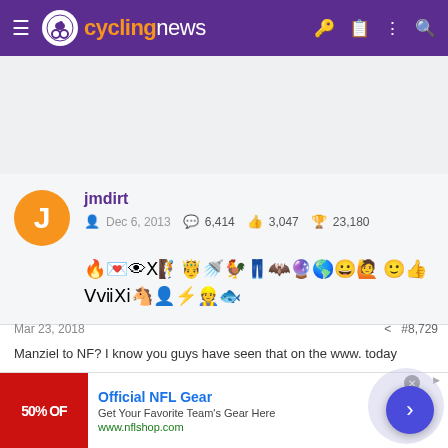cyclingnews navigation bar
[Figure (screenshot): Cycling News website navigation bar with purple background, logo, hamburger menu, and icons]
jmdirt
Dec 6, 2013  6,414  3,047  23,180
[Figure (other): User badges/achievement icons — two rows of small emoji-style black icons]
Mar 23, 2018
#8,729
Manziel to NF? I know you guys have seen that on the www. today
[Figure (other): NFL advertisement banner: Official NFL Gear, Get Your Favorite Team's Gear Here, www.nflshop.com, with 50% OFF red image]